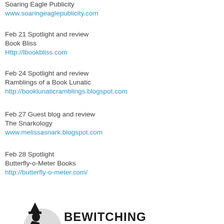Soaring Eagle Publicity
www.soaringeaglepublicity.com
Feb 21 Spotlight and review
Book Bliss
Http://lbookbliss.com
Feb 24 Spotlight and review
Ramblings of a Book Lunatic
http://booklunaticramblings.blogspot.com
Feb 27 Guest blog and review
The Snarkology
www.melissasnark.blogspot.com
Feb 28 Spotlight
Butterfly-o-Meter Books
http://butterfly-o-meter.com/
[Figure (logo): Bewitching Book Tours logo with witch silhouette and text]